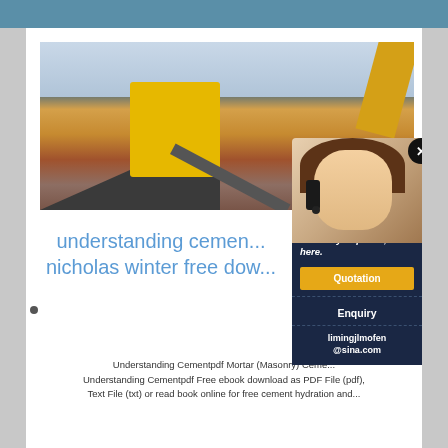[Figure (photo): Mining/quarry site with yellow heavy equipment, conveyor belt, and piles of earth/rock material. Industrial mining machinery visible.]
[Figure (photo): Customer service representative woman wearing headset, smiling, with dark navy overlay chat widget showing 'Have any requests, click here.' with Quotation and Enquiry buttons and email limingjlmofen@sina.com]
understanding cement nicholas winter free dow...
Understanding Cementpdf Mortar (Masonry) Ceme... Understanding Cementpdf Free ebook download as PDF File (pdf), Text File (txt) or read book online for free cement hydration and...